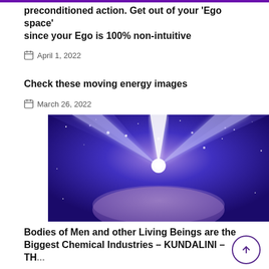preconditioned action. Get out of your 'Ego space' since your Ego is 100% non-intuitive
April 1, 2022
Check these moving energy images
March 26, 2022
[Figure (illustration): Cosmic energy image with bright white light beams forming a triangle/star shape over a planet or Earth surface against a blue-purple starfield background]
Bodies of Men and other Living Beings are the Biggest Chemical Industries – KUNDALINI – TH...